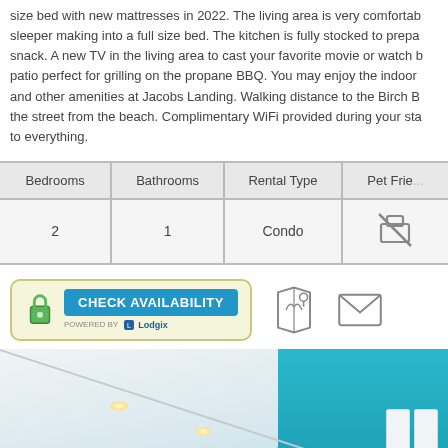size bed with new mattresses in 2022. The living area is very comfortable sleeper making into a full size bed. The kitchen is fully stocked to prepare snack. A new TV in the living area to cast your favorite movie or watch b patio perfect for grilling on the propane BBQ. You may enjoy the indoor and other amenities at Jacobs Landing. Walking distance to the Birch B the street from the beach. Complimentary WiFi provided during your sta to everything.
| Bedrooms | Bathrooms | Rental Type | Pet Frie... |
| --- | --- | --- | --- |
| 2 | 1 | Condo | [icon] |
[Figure (other): Check Availability button powered by Lodgix, map icon, and mail/envelope icon]
[Figure (photo): Interior photo showing white ceiling with recessed lights and teal/turquoise wall on the right side]